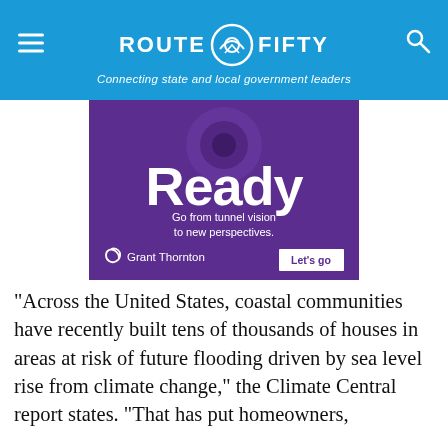ROUTE FIFTY — Connecting state and local government leaders
[Figure (advertisement): Grant Thornton advertisement on purple background. Large white text reads 'Ready' with a camera lens visible behind the letter 'd'. Subtext: 'Go from tunnel vision to new perspectives.' Grant Thornton logo on lower left with 'Let's go' button on lower right.]
“Across the United States, coastal communities have recently built tens of thousands of houses in areas at risk of future flooding driven by sea level rise from climate change,” the Climate Central report states. “That has put homeowners,